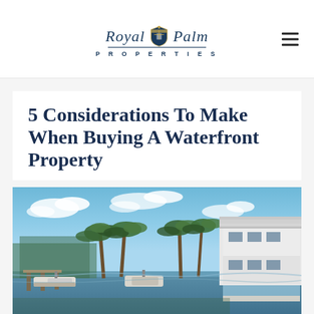Royal Palm Properties
5 Considerations To Make When Buying A Waterfront Property
[Figure (photo): Waterfront luxury property with canal, docked yachts, palm trees, and a modern white multi-story home under a blue sky with clouds.]